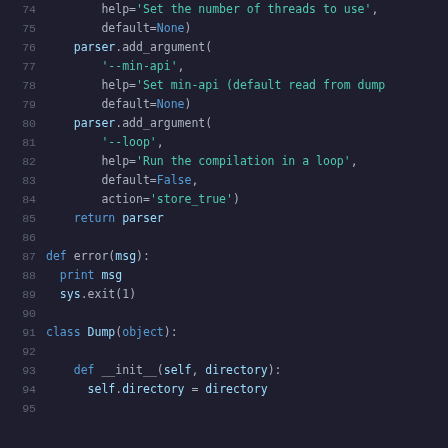[Figure (screenshot): Python source code snippet with line numbers 74-95, showing argument parser setup, error function, and Dump class definition. Dark theme syntax highlighting.]